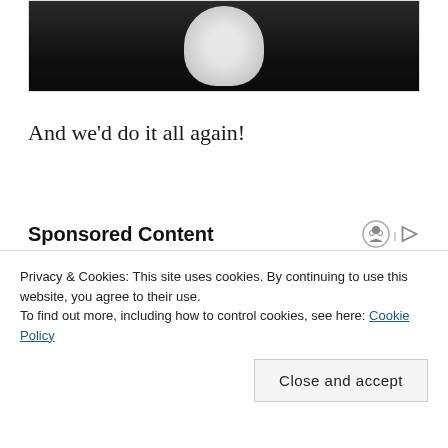[Figure (photo): Top portion of a photo showing a white fluffy object (likely an animal) against a dark background]
And we'd do it all again!
Sponsored Content
[Figure (photo): Partial view of a desk scene with furniture items, sponsored content advertisement]
Privacy & Cookies: This site uses cookies. By continuing to use this website, you agree to their use.
To find out more, including how to control cookies, see here: Cookie Policy
Close and accept